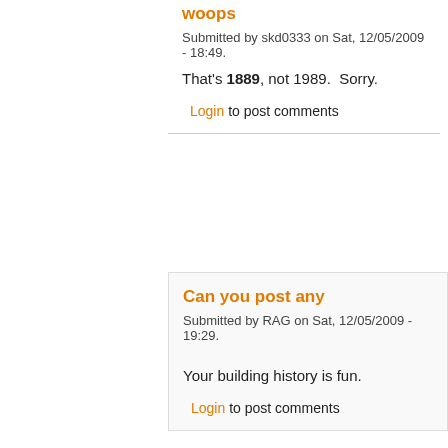woops
Submitted by skd0333 on Sat, 12/05/2009 - 18:49.
That's 1889, not 1989. Sorry.
Login to post comments
Can you post any
Submitted by RAG on Sat, 12/05/2009 - 19:29.
Your building history is fun.
Login to post comments
RAG, I haven't enjoyed
Submitted by jerleen1 on Sat, 12/05/2009 - 21:01.
RAG, I haven't enjoyed anything so much in a long photos. They were so interesting. Maybe others wi pictures a wall in a house that my sister bought on D